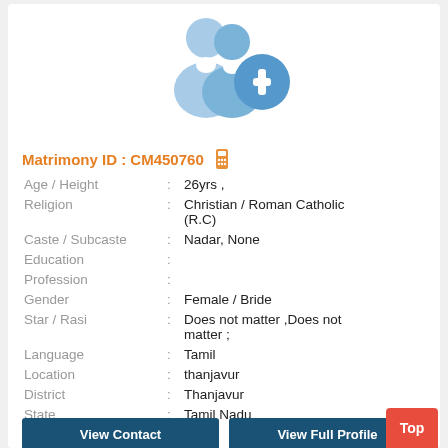[Figure (illustration): Profile silhouette icon: two blue person silhouettes with a blue circle containing a white plus sign, indicating add profile photo]
Matrimony ID : CM450760
| Field | : | Value |
| --- | --- | --- |
| Age / Height | : | 26yrs , |
| Religion | : | Christian / Roman Catholic (R.C) |
| Caste / Subcaste | : | Nadar, None |
| Education | : |  |
| Profession | : |  |
| Gender | : | Female / Bride |
| Star / Rasi | : | Does not matter ,Does not matter ; |
| Language | : | Tamil |
| Location | : | thanjavur |
| District | : | Thanjavur |
| State | : | Tamil Nadu |
| Country | : | India |
View Contact
View Full Profile
Top